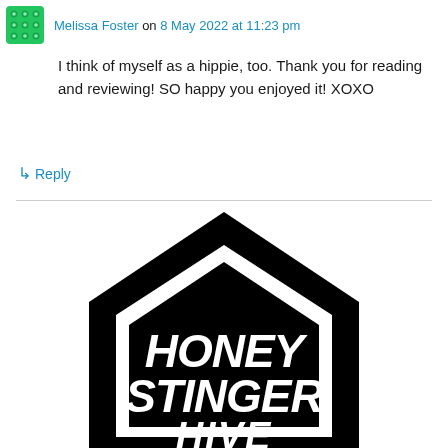Melissa Foster on 8 May 2022 at 11:23 pm
I think of myself as a hippie, too. Thank you for reading and reviewing! SO happy you enjoyed it! XOXO
↳ Reply
[Figure (logo): Honey Stinger Hive logo — black house/hive shape with HONEY STINGER text in bold italic white letters inside]